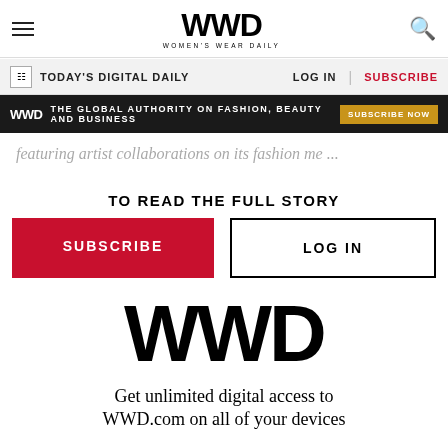WWD — WOMEN'S WEAR DAILY
TODAY'S DIGITAL DAILY | LOG IN | SUBSCRIBE
WWD — THE GLOBAL AUTHORITY ON FASHION, BEAUTY AND BUSINESS — SUBSCRIBE NOW
featuring artist collaborations on its fashion me ...
TO READ THE FULL STORY
SUBSCRIBE | LOG IN
[Figure (logo): Large WWD logo in bold black text]
Get unlimited digital access to WWD.com on all of your devices